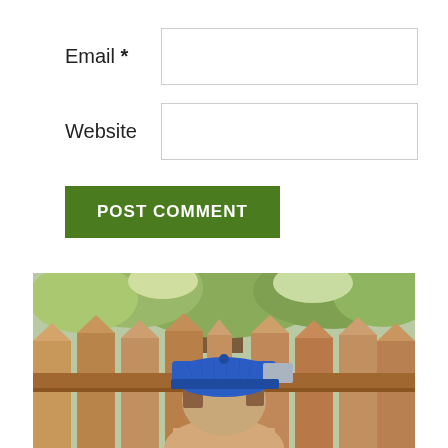Email *
Website
POST COMMENT
Notify me of new comments via email.
Notify me of new posts via email.
[Figure (photo): Person seen from behind wearing a blue and grey trucker cap, standing in front of a wooden fence with trees in the background]